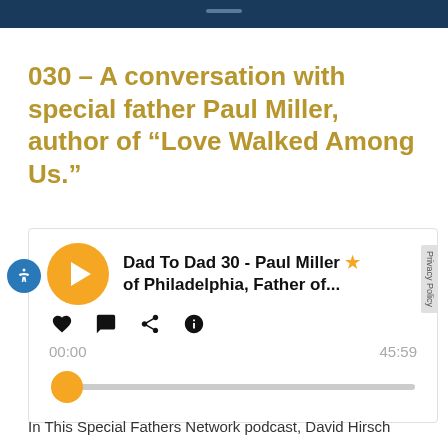030 – A conversation with special father Paul Miller, author of “Love Walked Among Us.”
[Figure (screenshot): Podcast audio player widget showing 'Dad To Dad 30 - Paul Miller of Philadelphia, Father of...' with a yellow play button, heart/comment/share/info icons, time display 00:00 and 45:59, and a progress bar with yellow knob at start.]
In This Special Fathers Network podcast, David Hirsch